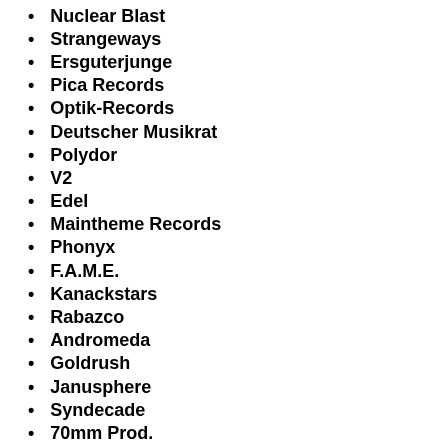Nuclear Blast
Strangeways
Ersguterjunge
Pica Records
Optik-Records
Deutscher Musikrat
Polydor
V2
Edel
Maintheme Records
Phonyx
F.A.M.E.
Kanackstars
Rabazco
Andromeda
Goldrush
Janusphere
Syndecade
70mm Prod.